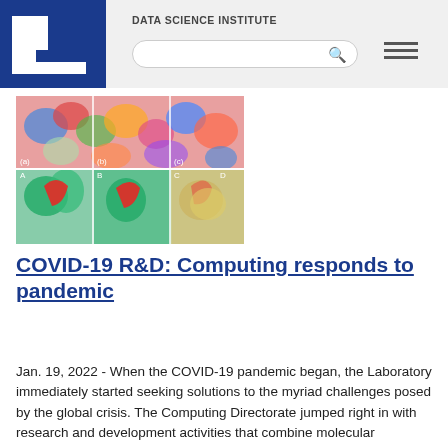DATA SCIENCE INSTITUTE
[Figure (photo): Scientific visualization images showing molecular structures and protein binding — colorful 3D molecular renderings in top row and green/red protein structure images in bottom row]
COVID-19 R&D: Computing responds to pandemic
Jan. 19, 2022 - When the COVID-19 pandemic began, the Laboratory immediately started seeking solutions to the myriad challenges posed by the global crisis. The Computing Directorate jumped right in with research and development activities that combine molecular screening to inform antiviral drug experimentation; a generative molecular design software platform to optimize properties of antiviral drugs; an...
[Figure (photo): Partial photo of a person, cropped at bottom of page]